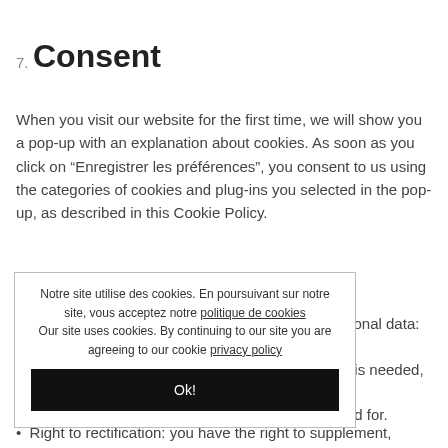7. Consent
When you visit our website for the first time, we will show you a pop-up with an explanation about cookies. As soon as you click on “Enregistrer les préférences”, you consent to us using the categories of cookies and plug-ins you selected in the pop-up, as described in this Cookie Policy.
Your rights with respect to personal data
[Figure (screenshot): Cookie consent overlay popup with French and English text about cookies. French: 'Notre site utilise des cookies. En poursuivant sur notre site, vous acceptez notre politique de cookies'. English: 'Our site uses cookies. By continuing to our site you are agreeing to our cookie privacy policy'. Black 'Ok!' button at bottom.]
sonal data:
. is needed,
ed for.
personal data
Right to rectification: you have the right to supplement, correct